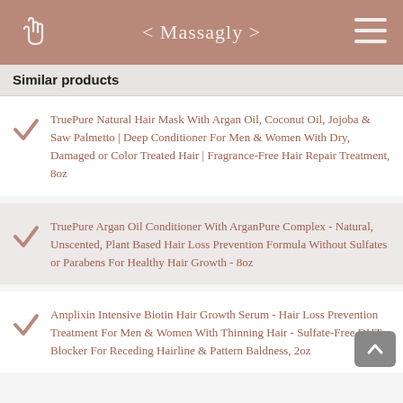< Massagly >
Similar products
TruePure Natural Hair Mask With Argan Oil, Coconut Oil, Jojoba & Saw Palmetto | Deep Conditioner For Men & Women With Dry, Damaged or Color Treated Hair | Fragrance-Free Hair Repair Treatment, 8oz
TruePure Argan Oil Conditioner With ArganPure Complex - Natural, Unscented, Plant Based Hair Loss Prevention Formula Without Sulfates or Parabens For Healthy Hair Growth - 8oz
Amplixin Intensive Biotin Hair Growth Serum - Hair Loss Prevention Treatment For Men & Women With Thinning Hair - Sulfate-Free DHT Blocker For Receding Hairline & Pattern Baldness, 2oz